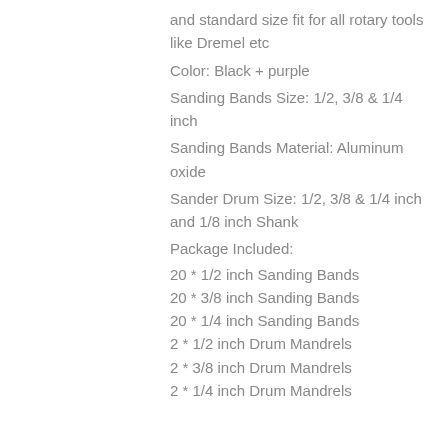and standard size fit for all rotary tools like Dremel etc
Color: Black + purple
Sanding Bands Size: 1/2, 3/8 & 1/4 inch
Sanding Bands Material: Aluminum oxide
Sander Drum Size: 1/2, 3/8 & 1/4 inch and 1/8 inch Shank
Package Included:
20 * 1/2 inch Sanding Bands
20 * 3/8 inch Sanding Bands
20 * 1/4 inch Sanding Bands
2 * 1/2 inch Drum Mandrels
2 * 3/8 inch Drum Mandrels
2 * 1/4 inch Drum Mandrels